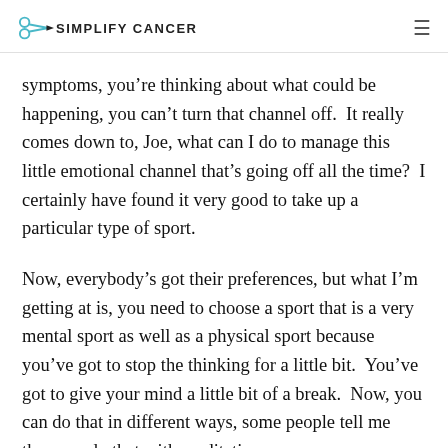SIMPLIFY CANCER
symptoms, you’re thinking about what could be happening, you can’t turn that channel off.  It really comes down to, Joe, what can I do to manage this little emotional channel that’s going off all the time?  I certainly have found it very good to take up a particular type of sport.
Now, everybody’s got their preferences, but what I’m getting at is, you need to choose a sport that is a very mental sport as well as a physical sport because you’ve got to stop the thinking for a little bit.  You’ve got to give your mind a little bit of a break.  Now, you can do that in different ways, some people tell me they can do that with meditation